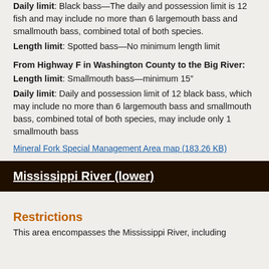Daily limit: Black bass—The daily and possession limit is 12 fish and may include no more than 6 largemouth bass and smallmouth bass, combined total of both species.
Length limit: Spotted bass—No minimum length limit
From Highway F in Washington County to the Big River:
Length limit: Smallmouth bass—minimum 15"
Daily limit: Daily and possession limit of 12 black bass, which may include no more than 6 largemouth bass and smallmouth bass, combined total of both species, may include only 1 smallmouth bass
Mineral Fork Special Management Area map (183.26 KB)
Mississippi River (lower)
Restrictions
This area encompasses the Mississippi River, including